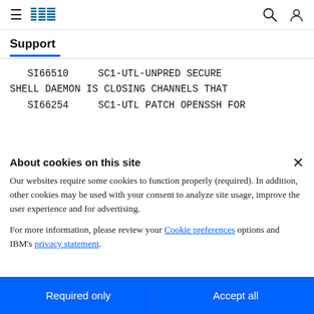IBM Support
SI66510    SC1-UTL-UNPRED SECURE SHELL DAEMON IS CLOSING CHANNELS THAT
SI66254    SC1-UTL PATCH OPENSSH FOR
About cookies on this site
Our websites require some cookies to function properly (required). In addition, other cookies may be used with your consent to analyze site usage, improve the user experience and for advertising.

For more information, please review your Cookie preferences options and IBM's privacy statement.
Required only
Accept all